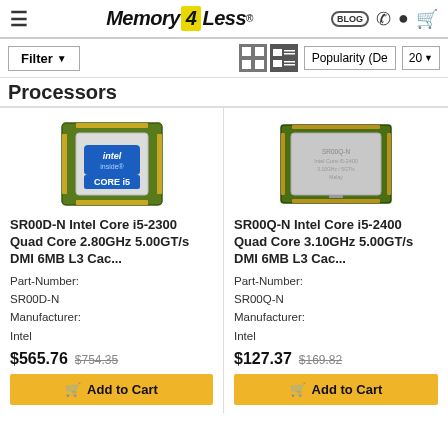Memory4Less - Filter - Popularity (De) - 20
Processors
[Figure (photo): Intel Core i5 processor chip with blue Intel Core i5 sticker label, green PCB border]
SR00D-N Intel Core i5-2300 Quad Core 2.80GHz 5.00GT/s DMI 6MB L3 Cac...
Part-Number:
SR00D-N
Manufacturer:
Intel
$565.76  $754.35
[Figure (photo): Intel processor chip showing back side with gold pins and gray heatspreader]
SR00Q-N Intel Core i5-2400 Quad Core 3.10GHz 5.00GT/s DMI 6MB L3 Cac...
Part-Number:
SR00Q-N
Manufacturer:
Intel
$127.37  $169.82